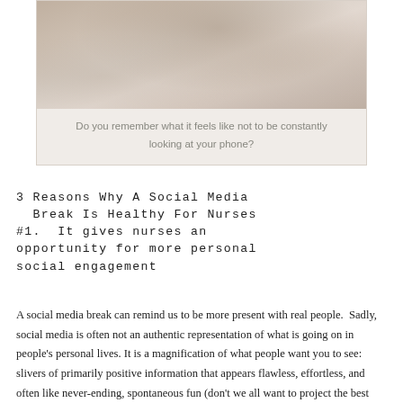[Figure (photo): Person relaxing on a couch or bed, partially visible, soft neutral tones]
Do you remember what it feels like not to be constantly looking at your phone?
3 Reasons Why A Social Media Break Is Healthy For Nurses #1. It gives nurses an opportunity for more personal social engagement
A social media break can remind us to be more present with real people.  Sadly, social media is often not an authentic representation of what is going on in people's personal lives. It is a magnification of what people want you to see: slivers of primarily positive information that appears flawless, effortless, and often like never-ending, spontaneous fun (don't we all want to project the best parts of ourselves?).